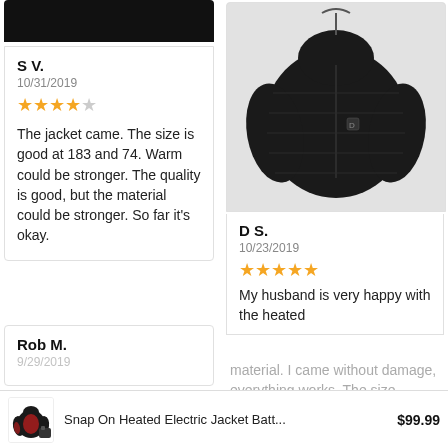[Figure (photo): Black top bar / partially cut product image on left column top]
S V.
10/31/2019
4 out of 5 stars
The jacket came. The size is good at 183 and 74. Warm could be stronger. The quality is good, but the material could be stronger. So far it's okay.
[Figure (photo): Photo of a black puffer/down jacket on hanger against white background]
D S.
10/23/2019
5 out of 5 stars
My husband is very happy with the heated material. I came without damage, everything works. The size consulted with the
Rob M.
didn't like the material
[Figure (photo): Small product thumbnail of heated electric jacket with red heating zones]
Snap On Heated Electric Jacket Batt... $99.99